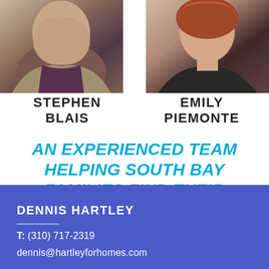[Figure (photo): Headshot photo of Stephen Blais, a man in a jacket with dark purple/maroon top]
[Figure (photo): Headshot photo of Emily Piemonte, a woman in a dark top with reddish hair]
STEPHEN BLAIS
EMILY PIEMONTE
AN EXPERIENCED TEAM HELPING SOUTH BAY FAMILIES FIND THEIR PLACE.
DENNIS HARTLEY
T: (310) 717-2319
dennis@hartleyforhomes.com